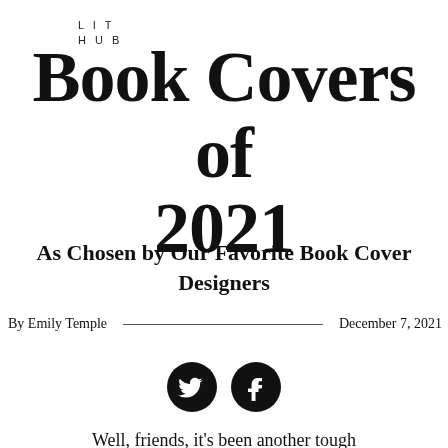LIT
HUB
Book Covers of 2021
As Chosen by Our Favorite Book Cover Designers
By Emily Temple   December 7, 2021
[Figure (other): Social media share buttons: Twitter (bird icon) and Facebook (f icon), both as white icons on black circles]
Well, friends, it's been another tough